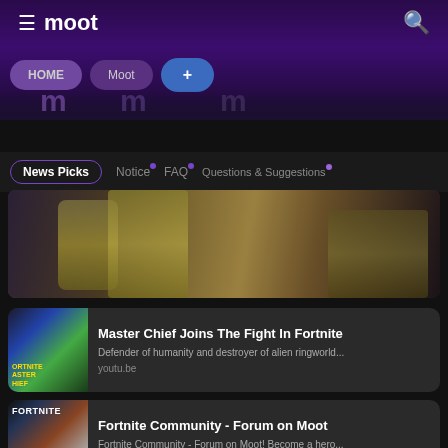≡ moot 🔍
HOME | Moot | +
News Picks · Notice · FAQ · Questions & Suggestions
[Figure (photo): Hero image showing a close-up of a video game character in golden armor (Master Chief from Halo)]
Master Chief Joins The Fight In Fortnite
Defender of humanity and destroyer of alien ringworld...
youtu.be
Fortnite Community - Forum on Moot
Fortnite Community - Forum on Moot! Become a hero...
moot.us